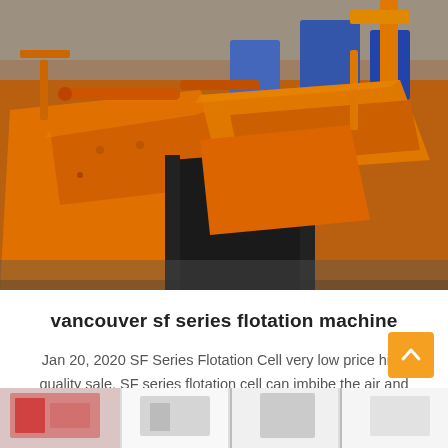[Figure (photo): Industrial orange flotation machines in a factory warehouse setting. Large orange metal flotation cell equipment with black rubber components, multiple units visible.]
vancouver sf series flotation machine
Jan 20, 2020 SF Series Flotation Cell very low price high quality sale. SF series flotation cell can imbibe the air and ore pulp spontaneously, This series…
Release Time : 05-21
[Figure (photo): Partial view of industrial machinery at bottom of page, light-colored equipment in a factory setting.]